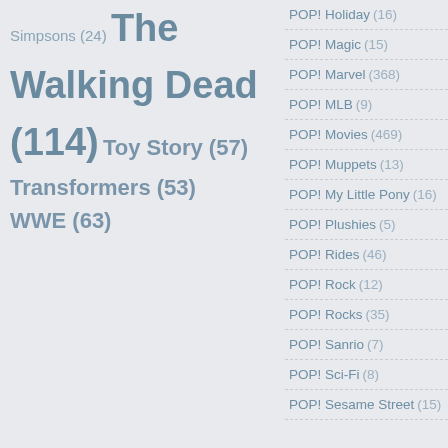Simpsons (24) The Walking Dead (114) Toy Story (57) Transformers (53) WWE (63)
POP! Holiday (16)
POP! Magic (15)
POP! Marvel (368)
POP! MLB (9)
POP! Movies (469)
POP! Muppets (13)
POP! My Little Pony (16)
POP! Plushies (5)
POP! Rides (46)
POP! Rock (12)
POP! Rocks (35)
POP! Sanrio (7)
POP! Sci-Fi (8)
POP! Sesame Street (15)